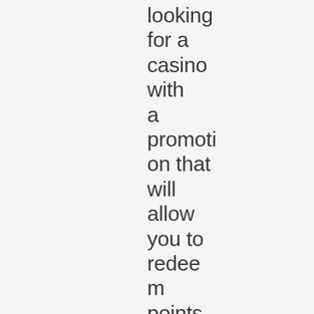looking for a casino with a promotion that will allow you to redeem points, it's important to find out exactly